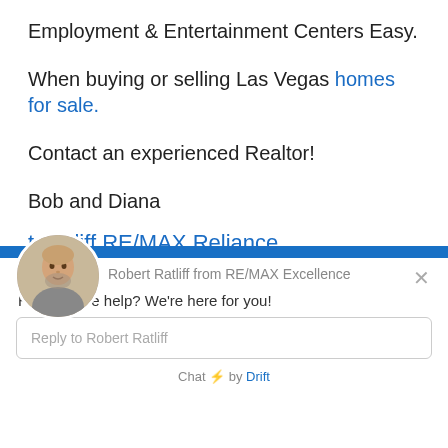Employment & Entertainment Centers Easy.
When buying or selling Las Vegas homes for sale.
Contact an experienced Realtor!
Bob and Diana
t Ratliff RE/MAX Reliance
[Figure (screenshot): Chat widget popup from Drift showing Robert Ratliff from RE/MAX Excellence with avatar photo, message 'How can we help? We're here for you!', reply input box, and 'Chat by Drift' footer]
Robert Ratliff from RE/MAX Excellence
How can we help? We're here for you!
Reply to Robert Ratliff
Chat ⚡ by Drift